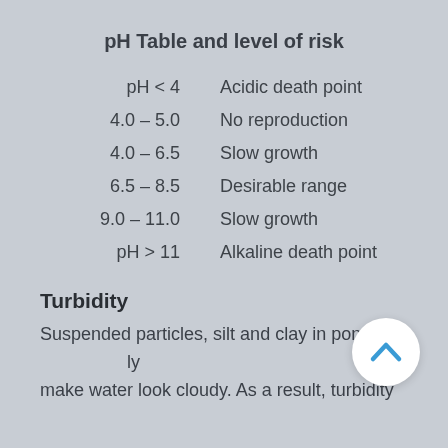pH Table and level of risk
| pH Range | Effect |
| --- | --- |
| pH < 4 | Acidic death point |
| 4.0 – 5.0 | No reproduction |
| 4.0 – 6.5 | Slow growth |
| 6.5 – 8.5 | Desirable range |
| 9.0 – 11.0 | Slow growth |
| pH > 11 | Alkaline death point |
Turbidity
Suspended particles, silt and clay in ponds mainly make water look cloudy. As a result, turbidity